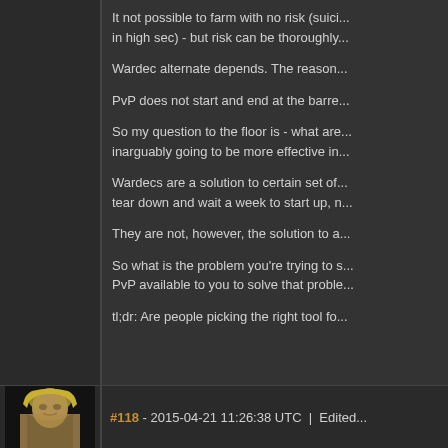It not possible to farm with no risk (suici... in high sec) - but risk can be thoroughly...
Wardec alternate depends. The reason...
PvP does not start and end at the barre...
So my question to the floor is - what are... inarguably going to be more effective in...
Wardecs are a solution to certain set of... tear down and wait a week to start up, n...
They are not, however, the solution to a...
So what is the problem you're trying to s... PvP available to you to solve that proble...
tl;dr: Are people picking the right tool fo...
#118 - 2015-04-21 11:26:38 UTC  |  Edited...